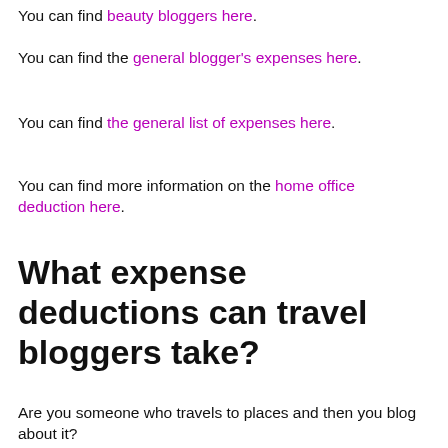You can find beauty bloggers here.
You can find the general blogger's expenses here.
You can find the general list of expenses here.
You can find more information on the home office deduction here.
What expense deductions can travel bloggers take?
Are you someone who travels to places and then you blog about it?